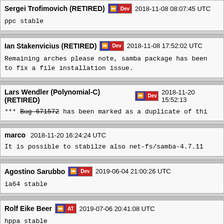Sergei Trofimovich (RETIRED) [Dev] 2018-11-08 08:07:45 UTC
ppc stable
Ian Stakenvicius (RETIRED) [Dev] 2018-11-08 17:52:02 UTC
Remaining arches please note, samba package has been to fix a file installation issue.
Lars Wendler (Polynomial-C) (RETIRED) [Dev] 2018-11-20 15:52:13
*** Bug 671572 has been marked as a duplicate of thi
marco 2018-11-20 16:24:24 UTC
It is possible to stabilze also net-fs/samba-4.7.11
Agostino Sarubbo [Dev] 2019-06-04 21:00:26 UTC
ia64 stable
Rolf Eike Beer [AT] 2019-07-06 20:41:08 UTC
hppa stable